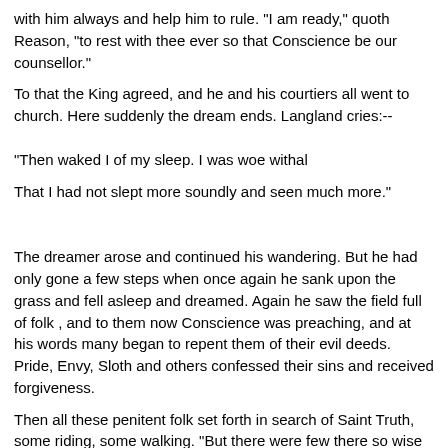with him always and help him to rule. "I am ready," quoth Reason, "to rest with thee ever so that Conscience be our counsellor."
To that the King agreed, and he and his courtiers all went to church. Here suddenly the dream ends. Langland cries:--
"Then waked I of my sleep. I was woe withal

That I had not slept more soundly and seen much more."
The dreamer arose and continued his wandering. But he had only gone a few steps when once again he sank upon the grass and fell asleep and dreamed. Again he saw the field full of folk , and to them now Conscience was preaching, and at his words many began to repent them of their evil deeds. Pride, Envy, Sloth and others confessed their sins and received forgiveness.
Then all these penitent folk set forth in search of Saint Truth, some riding, some walking. "But there were few there so wise as to know the way thither, and they went all amiss." No man could tell them where Saint Truth lived. And now appears at last Piers Ploughman, who gives his name to the whole poem.
"Quoth a ploughman and put forth his head,